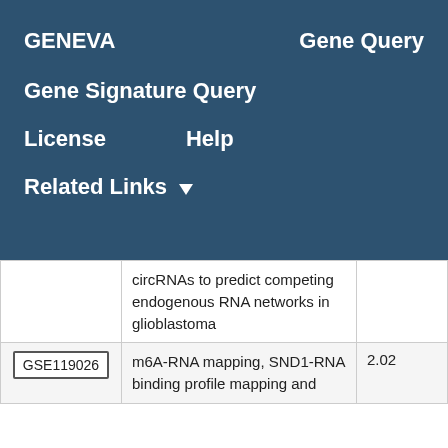GENEVA    Gene Query
Gene Signature Query
License    Help
Related Links ▼
|  | circRNAs to predict competing endogenous RNA networks in glioblastoma |  |
| GSE119026 | m6A-RNA mapping, SND1-RNA binding profile mapping and | 2.02 |